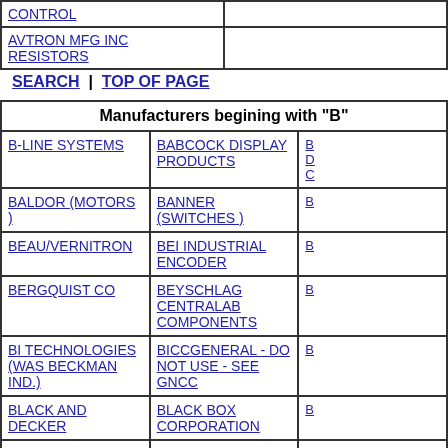|  |  |
| --- | --- |
| CONTROL |  |
| AVTRON MFG INC RESISTORS |  |
SEARCH | TOP OF PAGE
| Manufacturers begining with "B" |
| --- |
| B-LINE SYSTEMS | BABCOCK DISPLAY PRODUCTS | B... |
| BALDOR (MOTORS ) | BANNER (SWITCHES ) | B... |
| BEAU/VERNITRON | BEI INDUSTRIAL ENCODER | B... |
| BERGQUIST CO | BEYSCHLAG CENTRALAB COMPONENTS | B... |
| BI TECHNOLOGIES (WAS BECKMAN IND.) | BICCGENERAL - DO NOT USE - SEE GNCC | B... |
| BLACK AND DECKER | BLACK BOX CORPORATION | B... |
| BONDHUS WIHA | BOSCH CORP | B... |
| BOURNS | BRAD HARRIS | B... |
| BRADY (ID SOLUTIONS) | BRADY (SIGNMARK DIV) | B... |
| BRADY ENTP NIAC | BRINKMANN | B... |